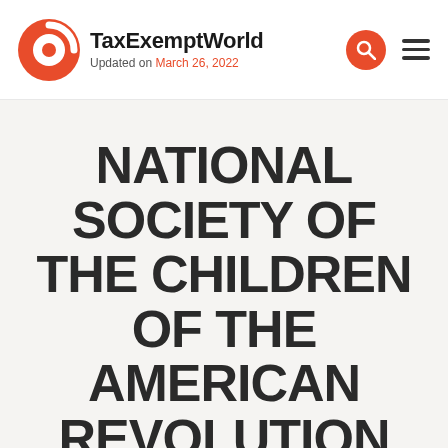TaxExemptWorld — Updated on March 26, 2022
NATIONAL SOCIETY OF THE CHILDREN OF THE AMERICAN REVOLUTION
501C3 Nonprofit Organization Information